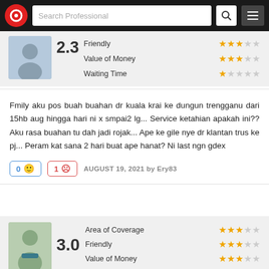Search Professional — navigation bar
2.3 — Friendly ★★★☆☆, Value of Money ★★★☆☆, Waiting Time ★☆☆☆☆
Fmily aku pos buah buahan dr kuala krai ke dungun trengganu dari 15hb aug hingga hari ni x smpai2 lg... Service ketahian apakah ini?? Aku rasa buahan tu dah jadi rojak... Ape ke gile nye dr klantan trus ke pj... Peram kat sana 2 hari buat ape hanat? Ni last ngn gdex
0 👍  1 👎   AUGUST 19, 2021 by Ery83
3.0 — Area of Coverage ★★★☆☆, Friendly ★★★☆☆, Value of Money ★★★☆☆